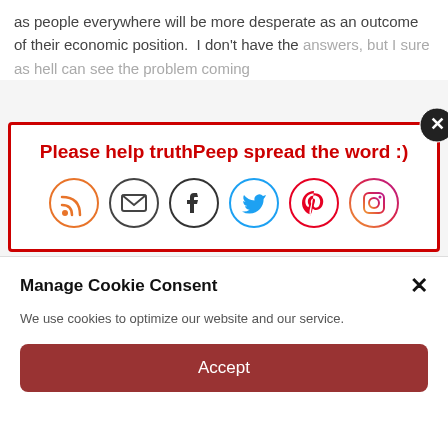as people everywhere will be more desperate as an outcome of their economic position.  I don't have the answers, but I sure as hell can see the problem coming
[Figure (screenshot): Social sharing popup with red border. Title: 'Please help truthPeep spread the word :)'. Six social media icons: RSS (orange), Email (dark), Facebook (dark), Twitter (blue), Pinterest (red), Instagram (gradient purple-red).]
Build Back Better future, before it's too late.
[Figure (map): Partial world map strip showing yellow and grey regions, partially visible between popups.]
Manage Cookie Consent
We use cookies to optimize our website and our service.
Accept